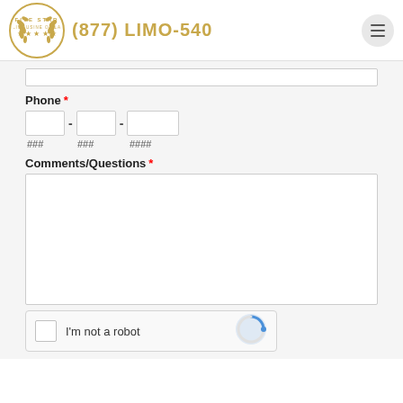Five Star Limousine of LA | (877) LIMO-540
Phone *
### - ### - ####
Comments/Questions *
I'm not a robot